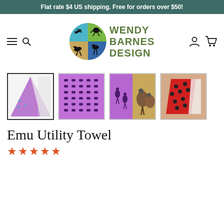Flat rate $4 US shipping. Free for orders over $50!
[Figure (logo): Wendy Barnes Design logo with circular icon showing birds and animals on colored quadrants, next to text WENDY BARNES DESIGN in olive green]
[Figure (photo): Four product thumbnail images of Emu Utility Towel: folded purple towel with emu print, flat purple towel with emu pattern, purple towel next to real emus in field, red polka dot folded towel]
Emu Utility Towel
★★★★★